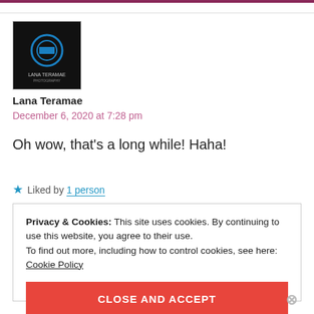[Figure (logo): Black square avatar with blue circular logo for Lana Teramae]
Lana Teramae
December 6, 2020 at 7:28 pm
Oh wow, that's a long while! Haha!
★ Liked by 1 person
Privacy & Cookies: This site uses cookies. By continuing to use this website, you agree to their use.
To find out more, including how to control cookies, see here:
Cookie Policy
CLOSE AND ACCEPT